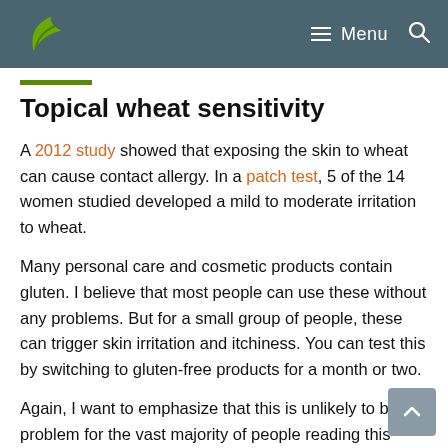Menu
Topical wheat sensitivity
A 2012 study showed that exposing the skin to wheat can cause contact allergy. In a patch test, 5 of the 14 women studied developed a mild to moderate irritation to wheat.
Many personal care and cosmetic products contain gluten. I believe that most people can use these without any problems. But for a small group of people, these can trigger skin irritation and itchiness. You can test this by switching to gluten-free products for a month or two.
Again, I want to emphasize that this is unlikely to be a problem for the vast majority of people reading this